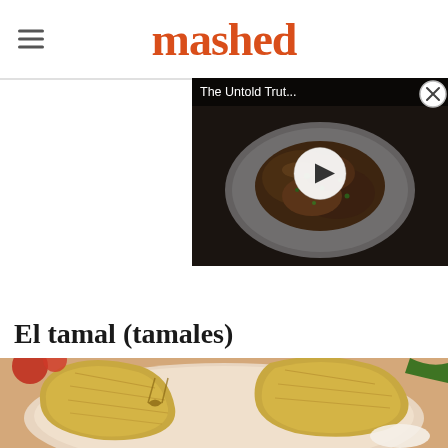mashed
[Figure (screenshot): Video thumbnail overlay showing a dish of braised/roasted meat on a plate with text 'The Untold Trut...' and a play button circle in the center, on dark background]
El tamal (tamales)
[Figure (photo): Close-up photo of tamales wrapped in corn husks, on a white plate, with some garnish visible]